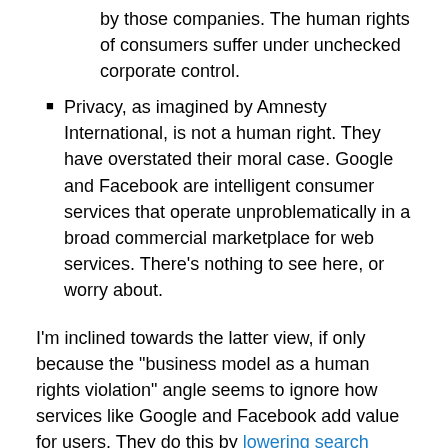by those companies. The human rights of consumers suffer under unchecked corporate control.
Privacy, as imagined by Amnesty International, is not a human right. They have overstated their moral case. Google and Facebook are intelligent consumer services that operate unproblematically in a broad commercial marketplace for web services. There's nothing to see here, or worry about.
I'm inclined towards the latter view, if only because the "business model as a human rights violation" angle seems to ignore how services like Google and Facebook add value for users. They do this by lowering search costs, which requires personalized search and data collection. There seem to be some necessary trade-offs between lowering search costs broadly–especially search costs